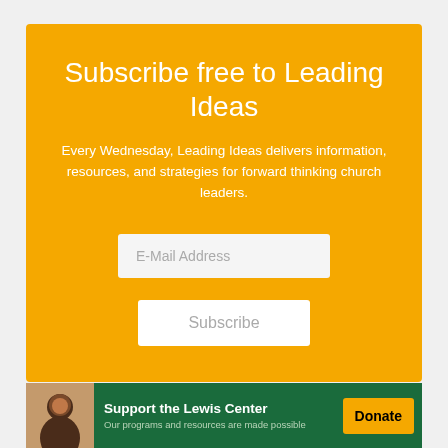Subscribe free to Leading Ideas
Every Wednesday, Leading Ideas delivers information, resources, and strategies for forward thinking church leaders.
E-Mail Address
Subscribe
Support the Lewis Center
Our programs and resources are made possible
Donate